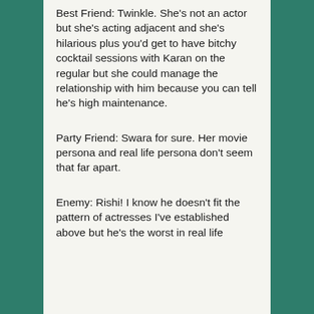Best Friend: Twinkle. She's not an actor but she's acting adjacent and she's hilarious plus you'd get to have bitchy cocktail sessions with Karan on the regular but she could manage the relationship with him because you can tell he's high maintenance.
Party Friend: Swara for sure. Her movie persona and real life persona don't seem that far apart.
Enemy: Rishi! I know he doesn't fit the pattern of actresses I've established above but he's the worst in real life